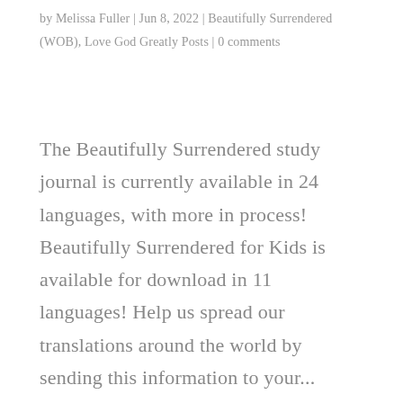by Melissa Fuller | Jun 8, 2022 | Beautifully Surrendered (WOB), Love God Greatly Posts | 0 comments
The Beautifully Surrendered study journal is currently available in 24 languages, with more in process! Beautifully Surrendered for Kids is available for download in 11 languages! Help us spread our translations around the world by sending this information to your...